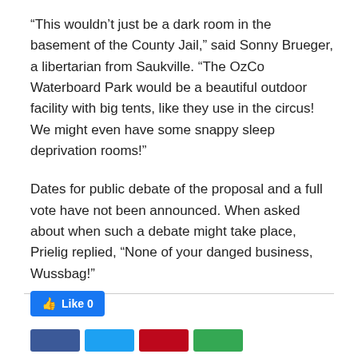“This wouldn’t just be a dark room in the basement of the County Jail,” said Sonny Brueger, a libertarian from Saukville. “The OzCo Waterboard Park would be a beautiful outdoor facility with big tents, like they use in the circus! We might even have some snappy sleep deprivation rooms!”
Dates for public debate of the proposal and a full vote have not been announced. When asked about when such a debate might take place, Prielig replied, “None of your danged business, Wussbag!”
[Figure (other): Facebook Like button showing 'Like 0' in blue, followed by social sharing buttons (Facebook, Twitter, Pinterest, Google) at the bottom of the page]